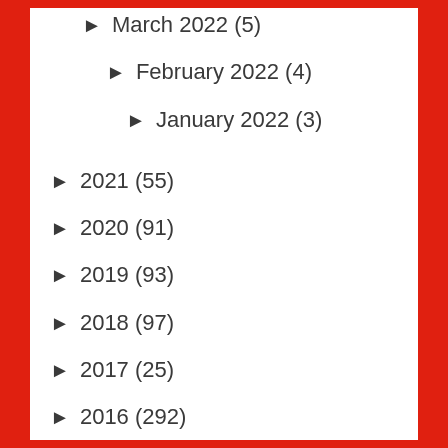► March 2022 (5)
► February 2022 (4)
► January 2022 (3)
► 2021 (55)
► 2020 (91)
► 2019 (93)
► 2018 (97)
► 2017 (25)
► 2016 (292)
► 2015 (316)
► 2014 (218)